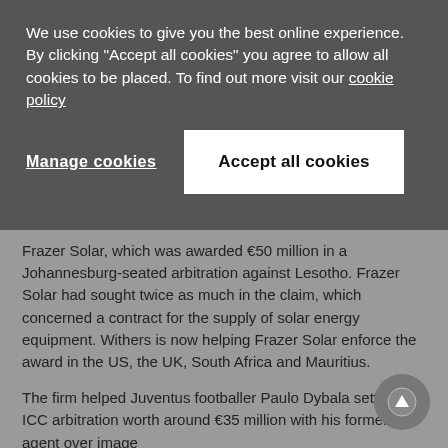We use cookies to give you the best online experience. By clicking "Accept all cookies" you agree to allow all cookies to be placed. To find out more visit our cookie policy
Manage cookies
Accept all cookies
Frazer Solar, which was awarded €50 million in a Johannesburg-seated arbitration against Lesotho. Frazer Solar had sought twice as much in the claim, which concerned a contract for the supply of solar energy equipment. Withers is now helping Frazer Solar enforce the award in the US, the UK, South Africa and Mauritius.
The firm helped Juventus footballer Paulo Dybala settle an ICC arbitration worth around €35 million with his former agent over image